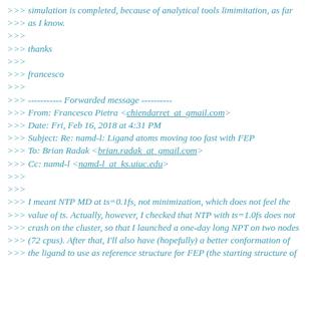>>> simulation is completed, because of analytical tools limimitation, as far
>>> as I know.
>>>
>>> thanks
>>>
>>> francesco
>>>
>>> ----------- Forwarded message ----------
>>> From: Francesco Pietra <chiendarret_at_gmail.com>
>>> Date: Fri, Feb 16, 2018 at 4:31 PM
>>> Subject: Re: namd-l: Ligand atoms moving too fast with FEP
>>> To: Brian Radak <brian.radak_at_gmail.com>
>>> Cc: namd-l <namd-l_at_ks.uiuc.edu>
>>>
>>>
>>> I meant NTP MD at ts=0.1fs, not minimization, which does not feel the
>>> value of ts. Actually, however, I checked that NTP with ts=1.0fs does not
>>> crash on the cluster, so that I launched a one-day long NPT on two nodes
>>> (72 cpus). After that, I'll also have (hopefully) a better conformation of
>>> the ligand to use as reference structure for FEP (the starting structure of